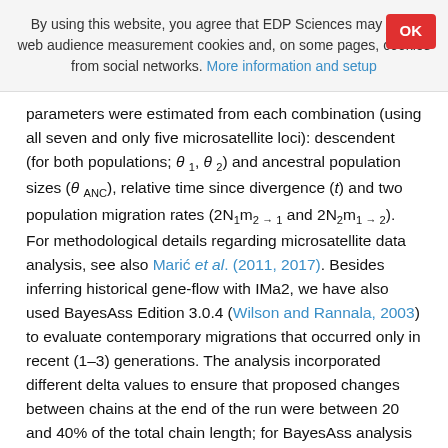By using this website, you agree that EDP Sciences may store web audience measurement cookies and, on some pages, cookies from social networks. More information and setup
parameters were estimated from each combination (using all seven and only five microsatellite loci): descendent (for both populations; θ 1, θ 2) and ancestral population sizes (θ ANC), relative time since divergence (t) and two population migration rates (2N1m2→1 and 2N2m1→2). For methodological details regarding microsatellite data analysis, see also Marić et al. (2011, 2017). Besides inferring historical gene-flow with IMa2, we have also used BayesAss Edition 3.0.4 (Wilson and Rannala, 2003) to evaluate contemporary migrations that occurred only in recent (1–3) generations. The analysis incorporated different delta values to ensure that proposed changes between chains at the end of the run were between 20 and 40% of the total chain length; for BayesAss analysis all microsatellite loci were considered and the analysis was set in